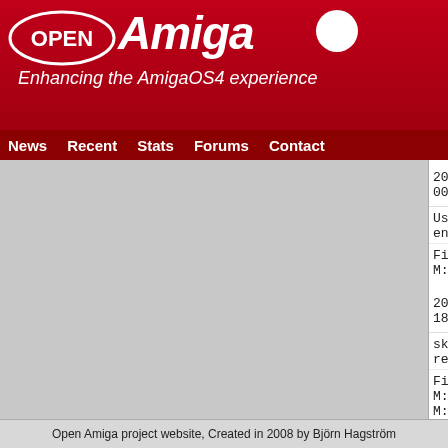[Figure (logo): OpenAmiga logo with red banner, OPEN oval, Amiga italic text, white circle, tagline 'Enhancing the AmigaOS4 experience']
3.91.147.46
News  Recent  Stats  Forums  Contact
20120304 00:16  720         chris   http-handler
Use GetSucc instead of ln_Succ, appears to ha
entries appearing in Examine
Files:
M: /projects/63/source/http3.c
20120303 18:54  719         chris   http-handler
skip entries where filename is 0 bytes (still
returned though)
Files:
M: /projects/63/documentation/v3-TODO.txt
M: /projects/63/source/http3.c
20120302 21:08  717         chris   http-handler
fix seek some more, reading pdfs direct from
Open Amiga project website, Created in 2008 by Björn Hagström